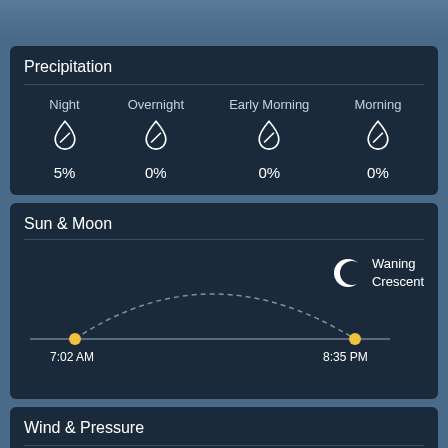[Figure (other): Top decorative bar / partial header area]
Precipitation
| Night | Overnight | Early Morning | Morning |
| --- | --- | --- | --- |
| (drop icon) | (drop icon) | (drop icon) | (drop icon) |
| 5% | 0% | 0% | 0% |
Sun & Moon
[Figure (continuous-plot): Sun arc diagram showing sunrise at 7:02 AM and sunset at 8:35 PM, with a dashed semicircle arc, yellow dots at horizon points, and a Waning Crescent moon phase icon with label.]
Wind & Pressure